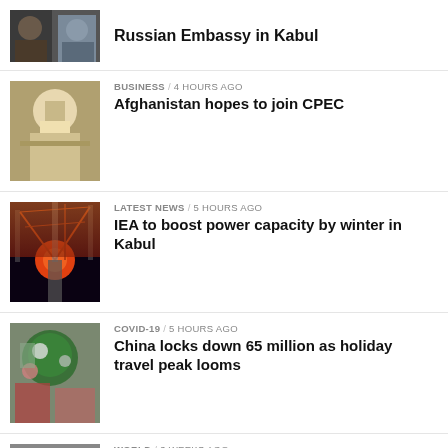[Figure (photo): Two men, one bearded in dark clothing, one in suit]
Russian Embassy in Kabul
[Figure (photo): Man in white traditional clothing at podium]
BUSINESS / 4 hours ago
Afghanistan hopes to join CPEC
[Figure (photo): Power transmission towers silhouetted against red sunset sky]
LATEST NEWS / 5 hours ago
IEA to boost power capacity by winter in Kabul
[Figure (photo): People with umbrellas in crowd, wearing masks]
COVID-19 / 5 hours ago
China locks down 65 million as holiday travel peak looms
[Figure (photo): Person bowing or crouching on ground]
WORLD / 3 weeks ago
Author Salman Rushdie on ventilator after stabbing in New York
[Figure (photo): Colorful crowd at sporting event]
SPORT / 3 weeks ago
ICC ... Afghanistan ...